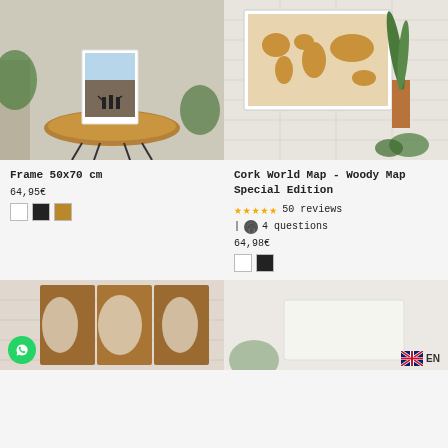[Figure (photo): Product photo: a framed art print of three silhouettes on a rock at sunset, displayed on a wooden slab table with hairpin legs, with plants around it.]
[Figure (photo): Product photo: a cork world map on a white brick wall, with a plant and succulents nearby.]
Frame 50x70 cm
64,95€
Color swatches: white, black, gold
Cork World Map - Woody Map Special Edition
50 reviews
4 questions
64,98€
Color swatches: white, black
[Figure (photo): Bottom-left product photo: a wooden cork world map art piece on a wall, with a WhatsApp chat button overlay.]
[Figure (photo): Bottom-right product photo: partial view of a product on a white background, with EN language badge in bottom-right corner.]